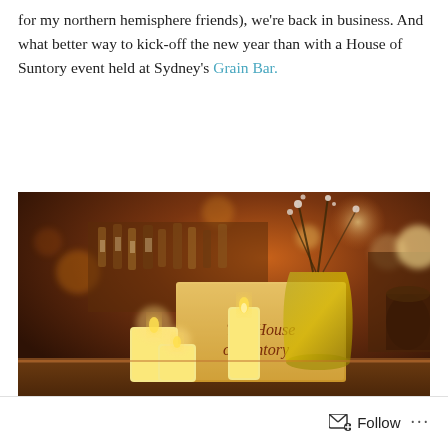for my northern hemisphere friends), we're back in business. And what better way to kick-off the new year than with a House of Suntory event held at Sydney's Grain Bar.
[Figure (photo): Bar counter photo showing a wooden box labeled 'The House of Suntory' flanked by glowing candles and a glass vase with dried floral branches, set against a warm bokeh bar background.]
Follow ...